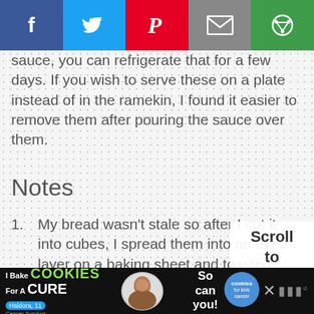[Figure (other): Social media share bar with Facebook, Twitter, Pinterest, Email, and other share buttons]
sauce, you can refrigerate that for a few days. If you wish to serve these on a plate instead of in the ramekin, I found it easier to remove them after pouring the sauce over them.
Notes
My bread wasn't stale so after I cut it into cubes, I spread them into an even layer on a baking sheet and toasted them while the oven was heating up until they felt dry. If you do this, be careful as you don't want them to brown! I haven't tried this recipe using fresh, untoasted
[Figure (other): Scroll to top overlay with text 'Scroll to top']
[Figure (other): Advertisement banner: I Bake COOKIES For A CURE - Haldora, 11 Cancer Survivor - So can you! - cookies for kids cancer logo]